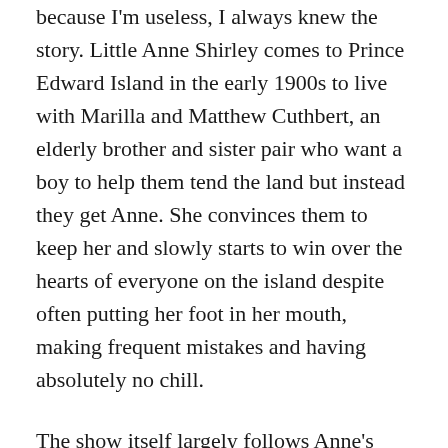because I'm useless, I always knew the story. Little Anne Shirley comes to Prince Edward Island in the early 1900s to live with Marilla and Matthew Cuthbert, an elderly brother and sister pair who want a boy to help them tend the land but instead they get Anne. She convinces them to keep her and slowly starts to win over the hearts of everyone on the island despite often putting her foot in her mouth, making frequent mistakes and having absolutely no chill.
The show itself largely follows Anne's various escapades on PEI and the life of the islanders, each episode charming and wholesome in its own right. It's certainly on the lighter side, but the show does touch upon some very important topics and there are hard-hitting moments that serve angst. My favourite characters are definitely Anne, her best friend Diana, Gilbert, Cole,